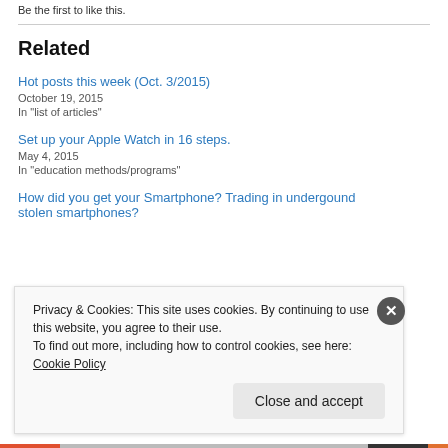Be the first to like this.
Related
Hot posts this week (Oct. 3/2015)
October 19, 2015
In "list of articles"
Set up your Apple Watch in 16 steps.
May 4, 2015
In "education methods/programs"
How did you get your Smartphone? Trading in undergound stolen smartphones?
Privacy & Cookies: This site uses cookies. By continuing to use this website, you agree to their use.
To find out more, including how to control cookies, see here: Cookie Policy